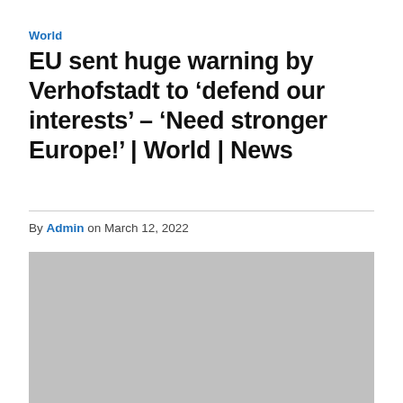World
EU sent huge warning by Verhofstadt to ‘defend our interests’ – ‘Need stronger Europe!’ | World | News
By Admin on March 12, 2022
[Figure (photo): Gray placeholder image filling the lower portion of the article page]